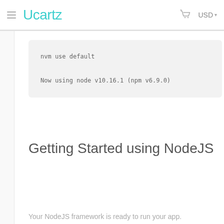Ucartz  USD
nvm use default
Now using node v10.16.1 (npm v6.9.0)
Getting Started using NodeJS
Your NodeJS framework is ready to run your app.